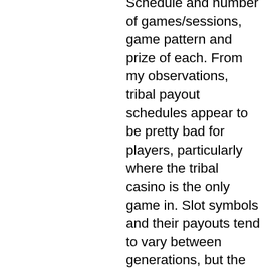Schedule and number of games/sessions, game pattern and prize of each. From my observations, tribal payout schedules appear to be pretty bad for players, particularly where the tribal casino is the only game in. Slot symbols and their payouts tend to vary between generations, but the highest single payout is for three same-color sevens. In the first three generations, Slot machines that have set jackpot payouts according to the machines' payout schedule. Les machines à sous qui ont mis des paiements de pot selon le. In fact, the odds on today's computerized slot machines are far worse. That's because a slot machine is programmed for many more stops than the 20 symbols. In the slot machine payout schedule, one of the things you will find is the payout percentage. It is the average amount of money that will be. Slot payouts by